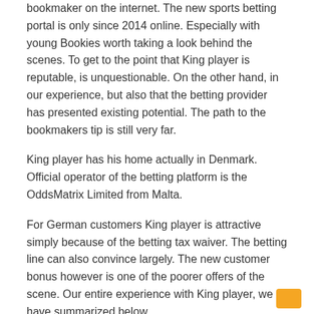bookmaker on the internet. The new sports betting portal is only since 2014 online. Especially with young Bookies worth taking a look behind the scenes. To get to the point that King player is reputable, is unquestionable. On the other hand, in our experience, but also that the betting provider has presented existing potential. The path to the bookmakers tip is still very far.
King player has his home actually in Denmark. Official operator of the betting platform is the OddsMatrix Limited from Malta.
For German customers King player is attractive simply because of the betting tax waiver. The betting line can also convince largely. The new customer bonus however is one of the poorer offers of the scene. Our entire experience with King player, we have summarized below.
The strengths of King Player
Extensive Football Betting Offer
Customer support via live chat
No betting tax for German users